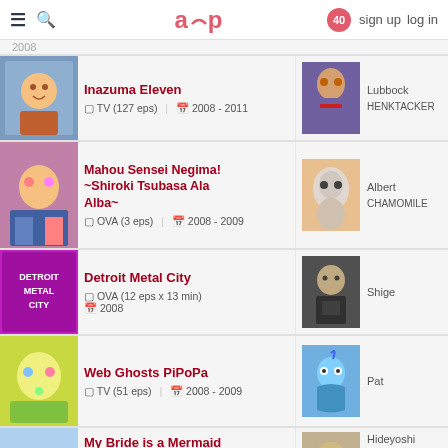≡ 🔍  aup  40  sign up  log in
Inazuma Eleven | TV (127 eps) | 2008 - 2011 | Lubbock HENKTACKER
Mahou Sensei Negima! ~Shiroki Tsubasa Ala Alba~ | OVA (3 eps) | 2008 - 2009 | Albert CHAMOMILE
Detroit Metal City | OVA (12 eps x 13 min) | 2008 | Shige
Web Ghosts PiPoPa | TV (51 eps) | 2008 - 2009 | Pat
My Bride is a Mermaid | Hideyoshi SARITORI